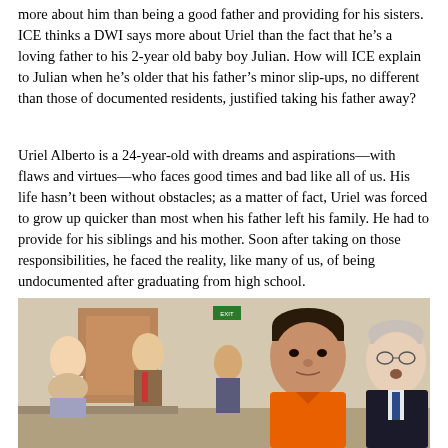more about him than being a good father and providing for his sisters. ICE thinks a DWI says more about Uriel than the fact that he's a loving father to his 2-year old baby boy Julian. How will ICE explain to Julian when he's older that his father's minor slip-ups, no different than those of documented residents, justified taking his father away?
Uriel Alberto is a 24-year-old with dreams and aspirations—with flaws and virtues—who faces good times and bad like all of us. His life hasn't been without obstacles; as a matter of fact, Uriel was forced to grow up quicker than most when his father left his family. He had to provide for his siblings and his mother. Soon after taking on those responsibilities, he faced the reality, like many of us, of being undocumented after graduating from high school.
[Figure (photo): Photo of a young Latino man in an orange shirt in what appears to be a courtroom or hearing room, with an older man in a dark suit beside him and other people visible in the background.]